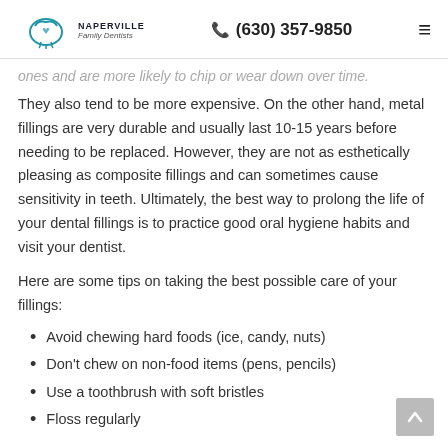Naperville Family Dentists | (630) 357-9850
ones and are more likely to chip or wear down over time.
They also tend to be more expensive. On the other hand, metal fillings are very durable and usually last 10-15 years before needing to be replaced. However, they are not as esthetically pleasing as composite fillings and can sometimes cause sensitivity in teeth. Ultimately, the best way to prolong the life of your dental fillings is to practice good oral hygiene habits and visit your dentist.
Here are some tips on taking the best possible care of your fillings:
Avoid chewing hard foods (ice, candy, nuts)
Don't chew on non-food items (pens, pencils)
Use a toothbrush with soft bristles
Floss regularly